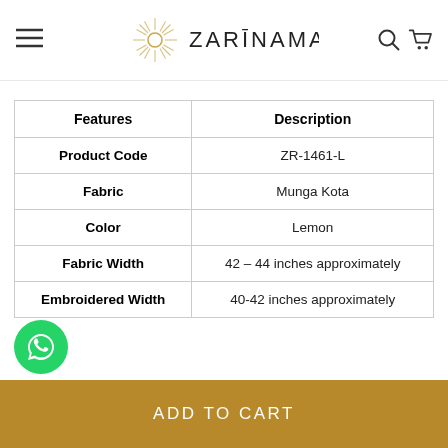ZARINAMA
| Features | Description |
| --- | --- |
| Product Code | ZR-1461-L |
| Fabric | Munga Kota |
| Color | Lemon |
| Fabric Width | 42 – 44 inches approximately |
| Embroidered Width | 40-42 inches approximately |
ADD TO CART